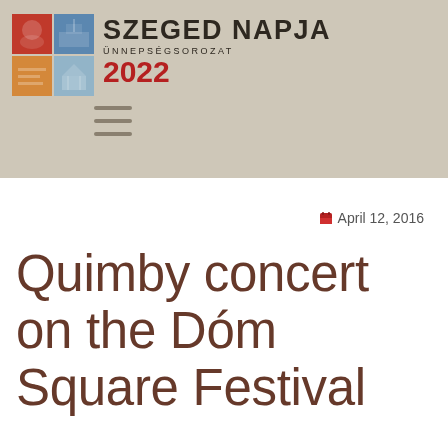[Figure (logo): Szeged Napja Ünnepségsorozat 2022 logo with four colored squares (red, blue, yellow/orange, light blue) and text]
April 12, 2016
Quimby concert on the Dóm Square Festival